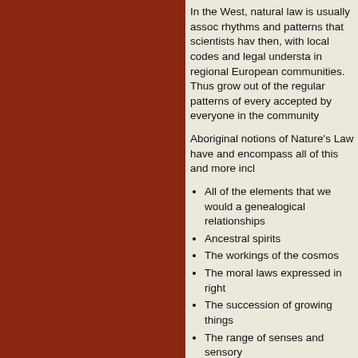In the West, natural law is usually assoc rhythms and patterns that scientists hav then, with local codes and legal understa in regional European communities. Thus grow out of the regular patterns of every accepted by everyone in the community
Aboriginal notions of Nature's Law have and encompass all of this and more incl
All of the elements that we would a genealogical relationships
Ancestral spirits
The workings of the cosmos
The moral laws expressed in right
The succession of growing things
The range of senses and sensory
The relationships between human animals and, finally,
The interconnectedness across tir processes and culture.
In other words, Nature's Law relates to t within society, culture and cosmos. Thus Nature's Law enlarges the meaning of th natural law within a larger framework. In becomes part of an ecosystem and is nc views of what we see or feel. Aboriginal are practical and, unlike the western log